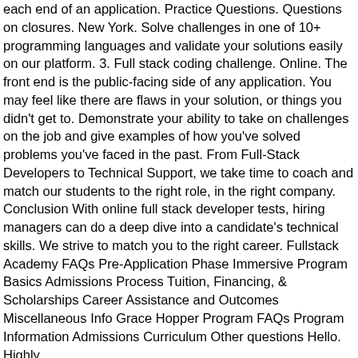each end of an application. Practice Questions. Questions on closures. New York. Solve challenges in one of 10+ programming languages and validate your solutions easily on our platform. 3. Full stack coding challenge. Online. The front end is the public-facing side of any application. You may feel like there are flaws in your solution, or things you didn't get to. Demonstrate your ability to take on challenges on the job and give examples of how you've solved problems you've faced in the past. From Full-Stack Developers to Technical Support, we take time to coach and match our students to the right role, in the right company. Conclusion With online full stack developer tests, hiring managers can do a deep dive into a candidate's technical skills. We strive to match you to the right career. Fullstack Academy FAQs Pre-Application Phase Immersive Program Basics Admissions Process Tuition, Financing, & Scholarships Career Assistance and Outcomes Miscellaneous Info Grace Hopper Program FAQs Program Information Admissions Curriculum Other questions Hello. Highly